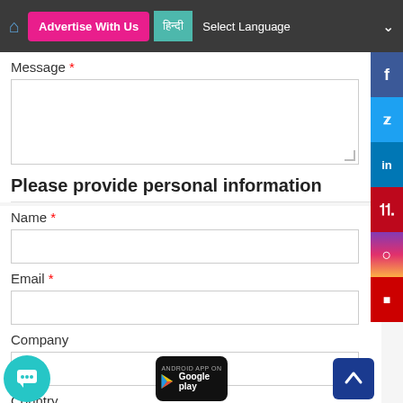Advertise With Us | हिंदी | Select Language
Message *
Please provide personal information
Name *
Email *
Company
Country